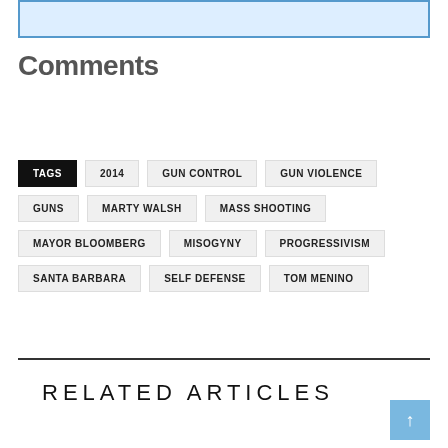[Figure (other): Light blue rectangular input/comment box with blue border at top of page]
Comments
TAGS  2014  GUN CONTROL  GUN VIOLENCE  GUNS  MARTY WALSH  MASS SHOOTING  MAYOR BLOOMBERG  MISOGYNY  PROGRESSIVISM  SANTA BARBARA  SELF DEFENSE  TOM MENINO
RELATED ARTICLES